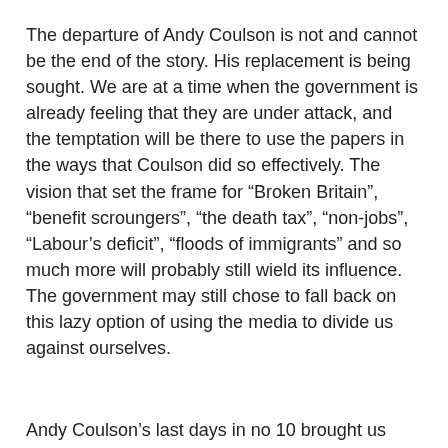The departure of Andy Coulson is not and cannot be the end of the story. His replacement is being sought. We are at a time when the government is already feeling that they are under attack, and the temptation will be there to use the papers in the ways that Coulson did so effectively. The vision that set the frame for “Broken Britain”, “benefit scroungers”, “the death tax”, “non-jobs”, “Labour’s deficit”, “floods of immigrants” and so much more will probably still wield its influence. The government may still chose to fall back on this lazy option of using the media to divide us against ourselves.
Andy Coulson’s last days in no 10 brought us something valuable. It has brought us information about how this relationship between the Conservative party and the press works.
We can see now it is about codes of friendship and mutual advantage. The cosy picture of Christmas as Chipping